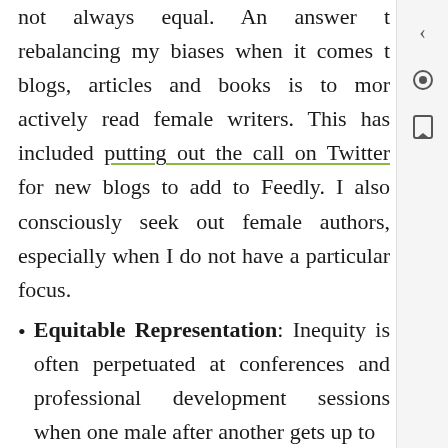not always equal. An answer to rebalancing my biases when it comes to blogs, articles and books is to more actively read female writers. This has included putting out the call on Twitter for new blogs to add to Feedly. I also consciously seek out female authors, especially when I do not have a particular focus.
Equitable Representation: Inequity is often perpetuated at conferences and professional development sessions when one male after another gets up to